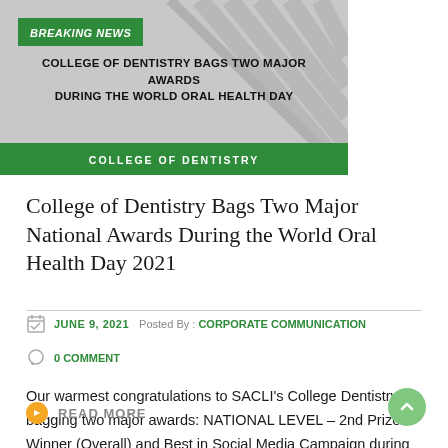[Figure (infographic): Breaking news banner for College of Dentistry with green header reading BREAKING NEWS, bold text COLLEGE OF DENTISTRY BAGS TWO MAJOR AWARDS DURING THE WORLD ORAL HEALTH DAY, and green footer bar reading COLLEGE OF DENTISTRY]
College of Dentistry Bags Two Major National Awards During the World Oral Health Day 2021
JUNE 9, 2021   Posted By : CORPORATE COMMUNICATION
0 COMMENT
Our warmest congratulations to SACLI’s College Dentistry for bagging two major awards: NATIONAL LEVEL – 2nd Prize Winner (Overall) and Best in Social Media Campaign during the World Oral Health.
READ MORE